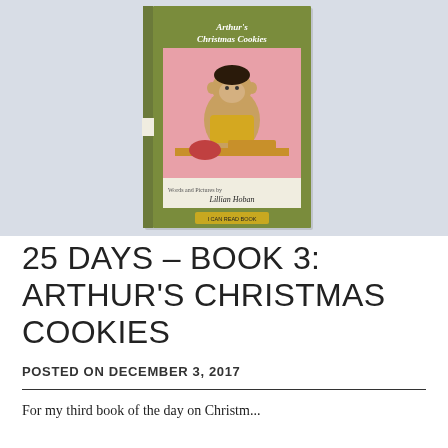[Figure (photo): Photo of a children's book titled 'Arthur's Christmas Cookies' with Words and Pictures by Lillian Hoban. The book cover shows an illustrated monkey character making cookies. Book is shown against a light blue-gray background. A green 'I Can Read Book' label is visible at the bottom of the cover.]
25 DAYS – BOOK 3: ARTHUR'S CHRISTMAS COOKIES
POSTED ON DECEMBER 3, 2017
For my third book of the day on Christmas...